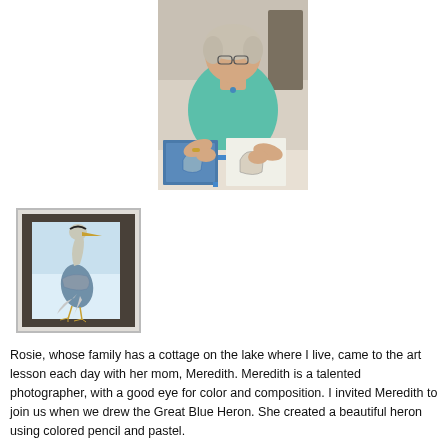[Figure (photo): Woman in teal tank top sitting at a table working on artwork, with two illustrated heron drawings on the table in front of her]
[Figure (photo): Finished artwork of a Great Blue Heron drawn in colored pencil and pastel, displayed on a dark surface inside a white border]
Rosie, whose family has a cottage on the lake where I live, came to the art lesson each day with her mom, Meredith. Meredith is a talented photographer, with a good eye for color and composition. I invited Meredith to join us when we drew the Great Blue Heron. She created a beautiful heron using colored pencil and pastel.